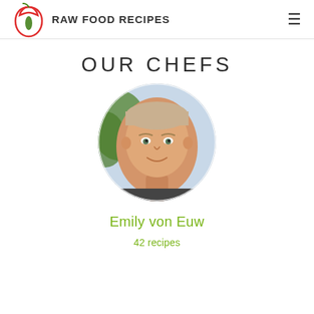RAW FOOD RECIPES
OUR CHEFS
[Figure (photo): Circular portrait photo of Emily von Euw, a woman with short blonde hair smiling, with green trees and light background visible]
Emily von Euw
42 recipes